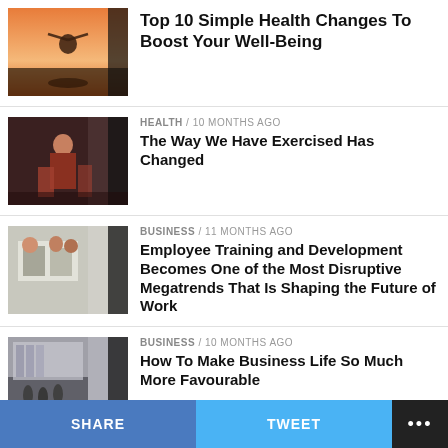[Figure (photo): Person with arms outstretched at sunset by water]
Top 10 Simple Health Changes To Boost Your Well-Being
[Figure (photo): Fitness woman exercising]
HEALTH / 10 months ago
The Way We Have Exercised Has Changed
[Figure (photo): Business people in a meeting room]
BUSINESS / 11 months ago
Employee Training and Development Becomes One of the Most Disruptive Megatrends That Is Shaping the Future of Work
[Figure (photo): Business people in modern office with city view]
BUSINESS / 10 months ago
How To Make Business Life So Much More Favourable
[Figure (photo): Person at desk, partially visible]
HEALTH / 9 months ago
Everything You Need to Know About
SHARE   TWEET   ...